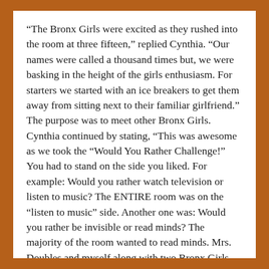“The Bronx Girls were excited as they rushed into the room at three fifteen,” replied Cynthia. “Our names were called a thousand times but, we were basking in the height of the girls enthusiasm. For starters we started with an ice breakers to get them away from sitting next to their familiar girlfriend.” The purpose was to meet other Bronx Girls. Cynthia continued by stating, “This was awesome as we took the “Would You Rather Challenge!” You had to stand on the side you liked. For example: Would you rather watch television or listen to music? The ENTIRE room was on the “listen to music” side. Another one was: Would you rather be invisible or read minds? The majority of the room wanted to read minds. Mrs. Doubles and myself along with two Bronx Girls wanted to be invisible.”
According to Mrs. Turnquest-Jones Bronx Girls Rock is inspired by Black Girls Rock. This will be a month long of building Middle School Girls to be versions of themselves